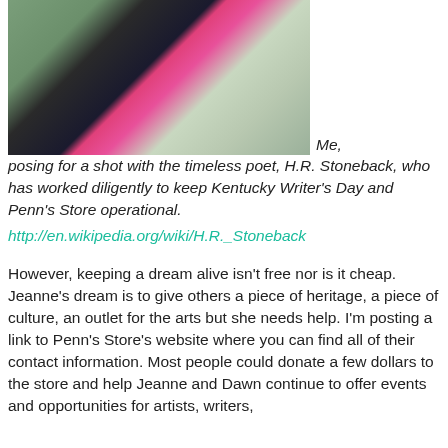[Figure (photo): Photo of people posing together, showing green jacket, dark clothing, pink/magenta top, and light jacket]
Me, posing for a shot with the timeless poet, H.R. Stoneback, who has worked diligently to keep Kentucky Writer's Day and Penn's Store operational. http://en.wikipedia.org/wiki/H.R._Stoneback
However, keeping a dream alive isn't free nor is it cheap. Jeanne's dream is to give others a piece of heritage, a piece of culture, an outlet for the arts but she needs help. I'm posting a link to Penn's Store's website where you can find all of their contact information. Most people could donate a few dollars to the store and help Jeanne and Dawn continue to offer events and opportunities for artists, writers,